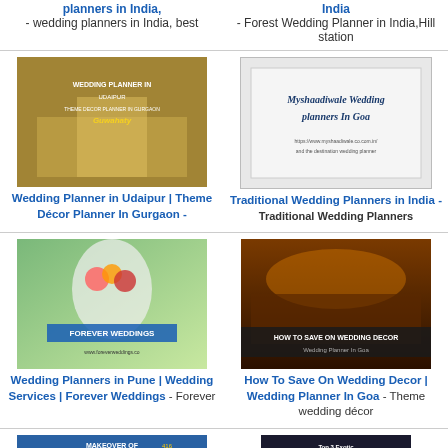planners in India, - wedding planners in India, best
India - Forest Wedding Planner in India,Hill station
[Figure (photo): Wedding decoration photo - Wedding Planner in Udaipur, Gurgaon]
Wedding Planner in Udaipur | Theme Décor Planner In Gurgaon -
[Figure (screenshot): Myshaadiwale Wedding planners In Goa - card/screenshot]
Traditional Wedding Planners in India - Traditional Wedding Planners
[Figure (photo): Forever Weddings - Wedding Planners in Pune]
Wedding Planners in Pune | Wedding Services | Forever Weddings - Forever
[Figure (photo): How To Save On Wedding Decor - Wedding Planner In Goa]
How To Save On Wedding Decor | Wedding Planner In Goa - Theme wedding décor
[Figure (photo): Makeover of Traditional wedding decor - Wedding Planners in Hyderabad]
Wedding Planners in Hyderabad | Event Planners in Hyderabad (1) -
[Figure (screenshot): Top 3 Exotic Destinations in India - Destination Wedding Planner in India]
Destination Wedding Planner in India - What now? Now is the time to